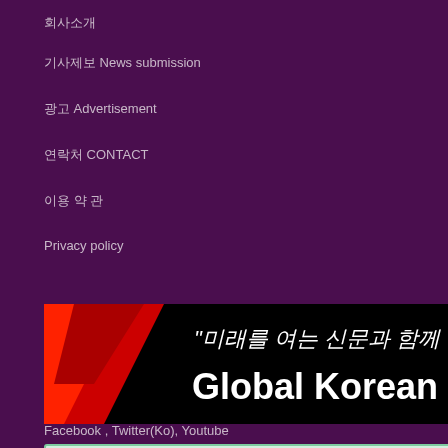회사소개
기사제보 News submission
광고 Advertisement
연락처 CONTACT
이용 약 관
Privacy policy
[Figure (logo): Global Korean Post banner with Korean text '미래를 여는 신문과 함께 하세요!' on black background with red graphic element]
[Figure (infographic): Light green box with Korean text '당신의 미래를 여는 신문에 동참하세요!' and '광고 문의 및 기사제보' with arrow button]
Facebook , Twitter(Ko), Youtube